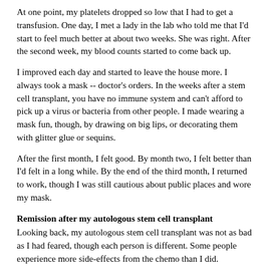At one point, my platelets dropped so low that I had to get a transfusion. One day, I met a lady in the lab who told me that I'd start to feel much better at about two weeks. She was right. After the second week, my blood counts started to come back up.
I improved each day and started to leave the house more. I always took a mask -- doctor's orders. In the weeks after a stem cell transplant, you have no immune system and can't afford to pick up a virus or bacteria from other people. I made wearing a mask fun, though, by drawing on big lips, or decorating them with glitter glue or sequins.
After the first month, I felt good. By month two, I felt better than I'd felt in a long while. By the end of the third month, I returned to work, though I was still cautious about public places and wore my mask.
Remission after my autologous stem cell transplant
Looking back, my autologous stem cell transplant was not as bad as I had feared, though each person is different. Some people experience more side-effects from the chemo than I did. However, my oncologists gave me the medications I needed to prevent side-effects or treated them as necessary.
For now at least, I'm in remission. I'm in remission after the chemo...